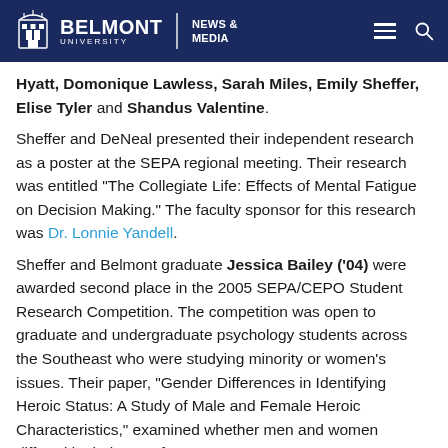BELMONT UNIVERSITY | NEWS & MEDIA
Hyatt, Domonique Lawless, Sarah Miles, Emily Sheffer, Elise Tyler and Shandus Valentine.
Sheffer and DeNeal presented their independent research as a poster at the SEPA regional meeting. Their research was entitled “The Collegiate Life: Effects of Mental Fatigue on Decision Making.” The faculty sponsor for this research was Dr. Lonnie Yandell.
Sheffer and Belmont graduate Jessica Bailey (’04) were awarded second place in the 2005 SEPA/CEPO Student Research Competition. The competition was open to graduate and undergraduate psychology students across the Southeast who were studying minority or women’s issues. Their paper, “Gender Differences in Identifying Heroic Status: A Study of Male and Female Heroic Characteristics,” examined whether men and women differed in their use of